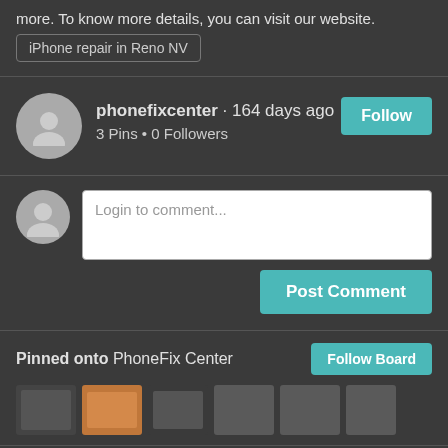more. To know more details, you can visit our website.
iPhone repair in Reno NV
phonefixcenter · 164 days ago
3 Pins • 0 Followers
Follow
Login to comment...
Post Comment
Pinned onto PhoneFix Center
Follow Board
[Figure (screenshot): Thumbnail images of pinned posts in a row]